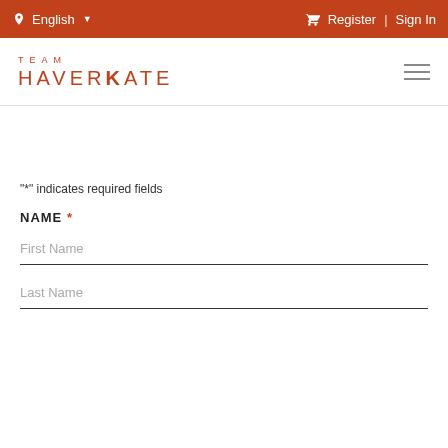English  Register | Sign In
[Figure (logo): Team Haverkate logo in orange with bold R]
"*" indicates required fields
NAME *
First Name
Last Name